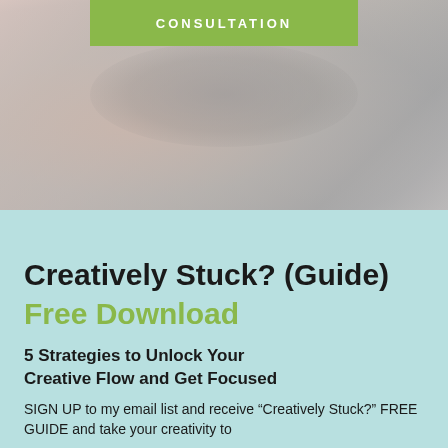[Figure (photo): Abstract textured background image with soft pinkish-gray tones, resembling a cloudy or misty scene]
CONSULTATION
Creatively Stuck? (Guide)
Free Download
5 Strategies to Unlock Your Creative Flow and Get Focused
SIGN UP to my email list and receive “Creatively Stuck?” FREE GUIDE and take your creativity to